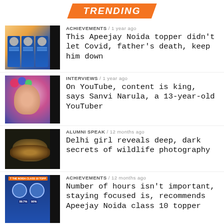TRENDING
[Figure (photo): Thumbnail image of Apeejay Noida toppers with banner cards]
ACHIEVEMENTS / 1 year ago
This Apeejay Noida topper didn't let Covid, father's death, keep him down
[Figure (photo): Photo of young girl Sanvi Narula smiling with colorful balloons in background]
INTERVIEWS / 1 year ago
On YouTube, content is king, says Sanvi Narula, a 13-year-old YouTuber
[Figure (photo): Close-up photo of a leopard in dark background]
ALUMNI SPEAK / 12 months ago
Delhi girl reveals deep, dark secrets of wildlife photography
[Figure (photo): Thumbnail of Noida Class 10 toppers infographic with student photos and scores]
ACHIEVEMENTS / 12 months ago
Number of hours isn't important, staying focused is, recommends Apeejay Noida class 10 topper
[Figure (photo): Partial thumbnail of a person's face]
NEWS PICK / 1 year ago